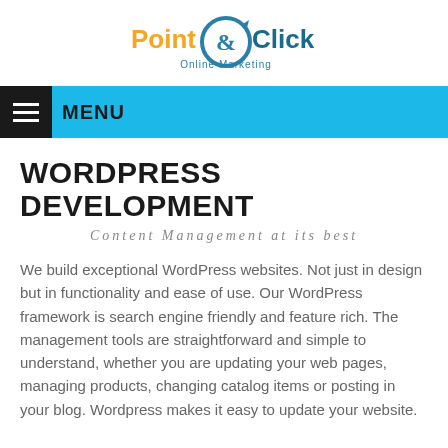[Figure (logo): Point & Click Online Marketing logo with orange 'Point' text, teal 'Click' text, and a circular arrow ampersand symbol]
MENU
WORDPRESS DEVELOPMENT
Content Management at its best
We build exceptional WordPress websites. Not just in design but in functionality and ease of use. Our WordPress framework is search engine friendly and feature rich. The management tools are straightforward and simple to understand, whether you are updating your web pages, managing products, changing catalog items or posting in your blog. Wordpress makes it easy to update your website.